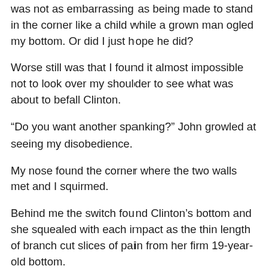was not as embarrassing as being made to stand in the corner like a child while a grown man ogled my bottom. Or did I just hope he did?
Worse still was that I found it almost impossible not to look over my shoulder to see what was about to befall Clinton.
“Do you want another spanking?” John growled at seeing my disobedience.
My nose found the corner where the two walls met and I squirmed.
Behind me the switch found Clinton’s bottom and she squealed with each impact as the thin length of branch cut slices of pain from her firm 19-year-old bottom.
If only I hadn’t been so judgemental and hadn’t opened my